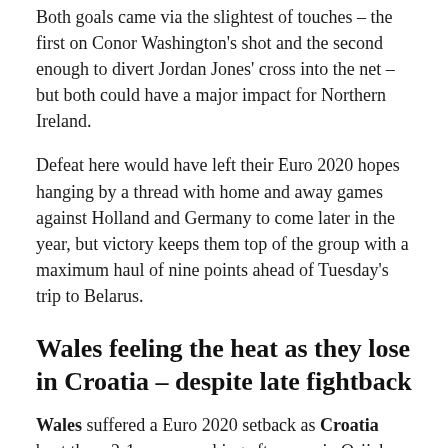Both goals came via the slightest of touches – the first on Conor Washington's shot and the second enough to divert Jordan Jones' cross into the net – but both could have a major impact for Northern Ireland.
Defeat here would have left their Euro 2020 hopes hanging by a thread with home and away games against Holland and Germany to come later in the year, but victory keeps them top of the group with a maximum haul of nine points ahead of Tuesday's trip to Belarus.
Wales feeling the heat as they lose in Croatia – despite late fightback
Wales suffered a Euro 2020 setback as Croatia beat them 2-1 on a scorching afternoon in Osijek.
A 17th-minute James Lawrence own goal and an Ivan Perisic strike at the start of the second half sealed Wales'